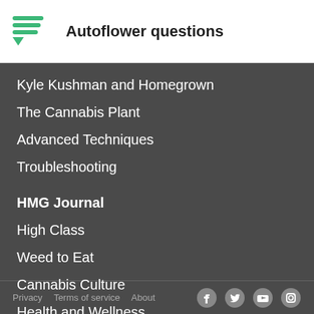Autoflower questions
Kyle Kushman and Homegrown
The Cannabis Plant
Advanced Techniques
Troubleshooting
HMG Journal
High Class
Weed to Eat
Cannabis Culture
Health and Wellness
Privacy  Terms of service  About